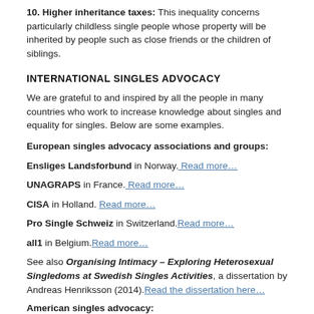10. Higher inheritance taxes: This inequality concerns particularly childless single people whose property will be inherited by people such as close friends or the children of siblings.
INTERNATIONAL SINGLES ADVOCACY
We are grateful to and inspired by all the people in many countries who work to increase knowledge about singles and equality for singles. Below are some examples.
European singles advocacy associations and groups:
Ensliges Landsforbund in Norway. Read more…
UNAGRAPS in France. Read more…
CISA in Holland. Read more…
Pro Single Schweiz in Switzerland. Read more…
all1 in Belgium. Read more…
See also Organising Intimacy – Exploring Heterosexual Singledoms at Swedish Singles Activities, a dissertation by Andreas Henriksson (2014). Read the dissertation here…
American singles advocacy:
Bella DePaulo. Read more…